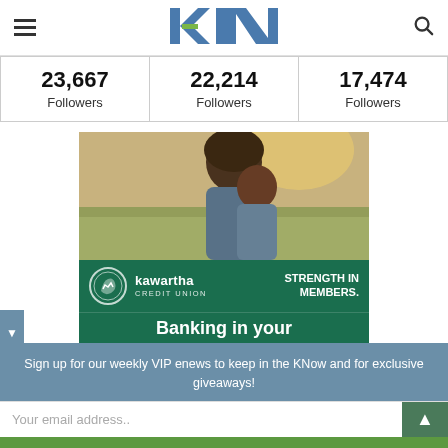kN (kawarthaNOW logo)
23,667 Followers
22,214 Followers
17,474 Followers
[Figure (photo): Advertisement for Kawartha Credit Union showing a smiling mother hugging her son outdoors, with the tagline STRENGTH IN MEMBERS and text Banking in your...]
Sign up for our weekly VIP enews to keep in the KNow and for exclusive giveaways!
Your email address..
SUBSCRIBE